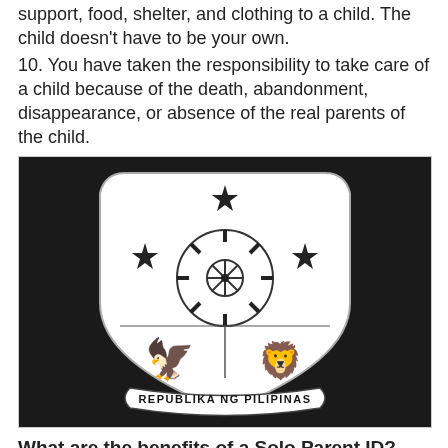support, food, shelter, and clothing to a child. The child doesn't have to be your own.
10. You have taken the responsibility to take care of a child because of the death, abandonment, disappearance, or absence of the real parents of the child.
[Figure (logo): Seal of the Republic of the Philippines (Republika ng Pilipinas) — white coat of arms with sun, stars, eagle, and lion on dark/black background]
What are the benefits of a Solo Parent ID?
1.You have the right to request for a flexible work schedule from your employer. For instance, you may arrive at work or leave work at different times compared to your regular schedule.